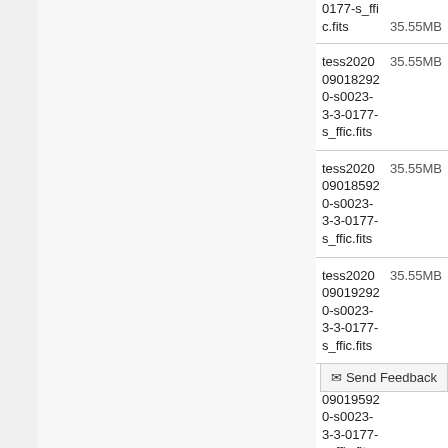| Filename | Size |
| --- | --- |
| tess2020090179920-s0023-3-3-0177-s_ffic.fits (partial, top cut off) | 35.55MB |
| tess2020090182920-s0023-3-3-0177-s_ffic.fits | 35.55MB |
| tess2020090185920-s0023-3-3-0177-s_ffic.fits | 35.55MB |
| tess2020090192920-s0023-3-3-0177-s_ffic.fits | 35.55MB |
| tess2020090195920-s0023-3-3-0177-s_ffic.fits | 35.55MB |
| tess2020090202920-s0023-3-3-0177-s_ffic.fits | 35.55MB |
| tess2020090205920-s0023-3-3-0177-s_ffic.fits | 35.55MB |
| tess2020090212920-s0023-3-3-0177-s_ffic.fits | 35.55MB |
| tess2020090215920-s0023-3-3-... (partial, bottom cut off) | 35.55MB |